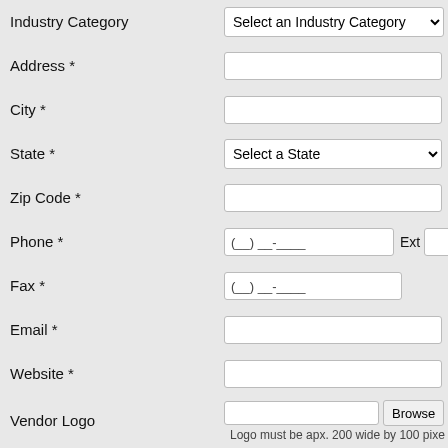Industry Category
Select an Industry Category
Address *
City *
State *
Select a State
Zip Code *
Phone *
(__) __-____
Ext
Fax *
(__) __-____
Email *
Website *
Vendor Logo
Logo must be apx. 200 wide by 100 pixe
Vendor Ad
Ad file size must be under 1MB in size a
Or You can type the discounted product or services in the space provided here (500 word max)